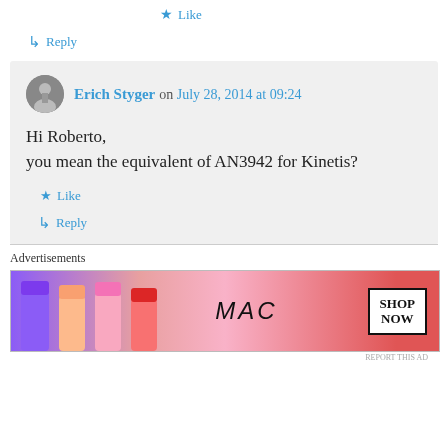★ Like
↳ Reply
Erich Styger on July 28, 2014 at 09:24
Hi Roberto,
you mean the equivalent of AN3942 for Kinetis?
★ Like
↳ Reply
Advertisements
[Figure (photo): MAC Cosmetics advertisement banner showing lipsticks with SHOP NOW button]